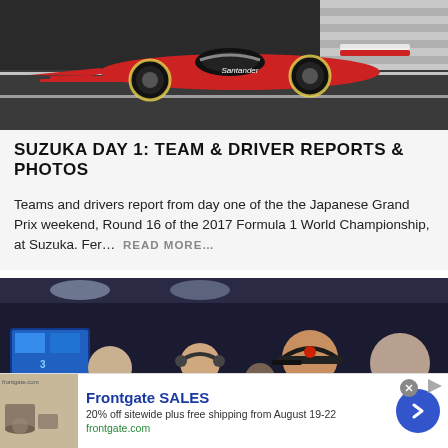[Figure (photo): Ferrari Formula 1 car on track at Suzuka, red car with Santander livery, side view]
SUZUKA DAY 1: TEAM & DRIVER REPORTS & PHOTOS
Teams and drivers report from day one of the the Japanese Grand Prix weekend, Round 16 of the 2017 Formula 1 World Championship, at Suzuka. Fer... READ MORE...
[Figure (photo): F1 pit garage scene with Red Bull Racing personnel, driver in red-bull cap and team members with headsets]
Frontgate SALES
20% off sitewide plus free shipping from August 19-22
frontgate.com